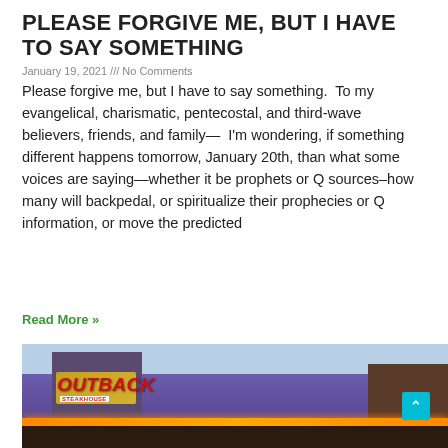PLEASE FORGIVE ME, BUT I HAVE TO SAY SOMETHING
January 19, 2021 /// No Comments
Please forgive me, but I have to say something.  To my evangelical, charismatic, pentecostal, and third-wave believers, friends, and family—  I'm wondering, if something different happens tomorrow, January 20th, than what some voices are saying—whether it be prophets or Q sources–how many will backpedal, or spiritualize their prophecies or Q information, or move the predicted
Read More »
[Figure (photo): Exterior photo of an Outback Steakhouse restaurant building at night, showing the illuminated sign with red lettering on a gold/stone facade, with orange LED lighting along the roofline.]